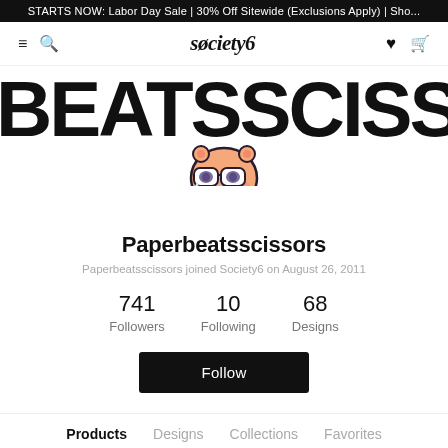STARTS NOW: Labor Day Sale | 30% Off Sitewide (Exclusions Apply) | Sho...
society6
[Figure (illustration): Large bold text 'BEATSSCISS' as a banner background, with a cartoon character (round orange creature with dark glasses and teardrop) overlaid in center]
Paperbeatsscissors
Paperbeatsscissors joined Society6 on August 26, 2011
741 Followers   10 Following   68 Designs
Follow
Products   Designs   Collections   Favorites